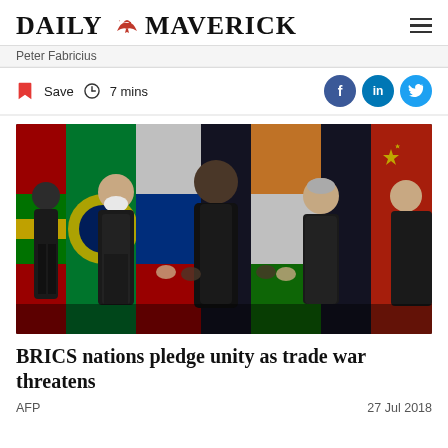DAILY MAVERICK
Peter Fabricius
Save  7 mins
[Figure (photo): BRICS leaders standing together holding hands in front of national flags including Brazil, Russia, India, South Africa, and China flags. Five leaders visible in formal attire.]
BRICS nations pledge unity as trade war threatens
AFP  27 Jul 2018